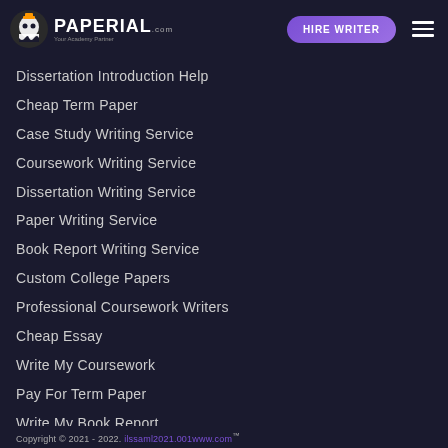Paperial.com — HIRE WRITER
Dissertation Introduction Help
Cheap Term Paper
Case Study Writing Service
Coursework Writing Service
Dissertation Writing Service
Paper Writing Service
Book Report Writing Service
Custom College Papers
Professional Coursework Writers
Cheap Essay
Write My Coursework
Pay For Term Paper
Write My Book Report
Copyright © 2021 - 2022. ilssaml2021.001www.com™